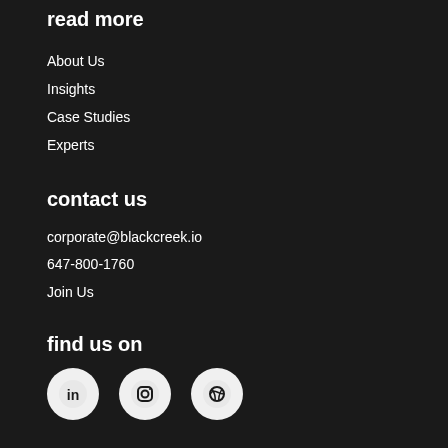read more
About Us
Insights
Case Studies
Experts
contact us
corporate@blackcreek.io
647-800-1760
Join Us
find us on
[Figure (illustration): Three social media icons: LinkedIn, Instagram, Dribbble in white circles on dark background]